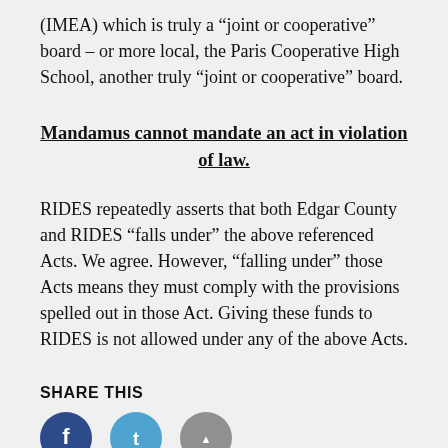(IMEA) which is truly a “joint or cooperative” board – or more local, the Paris Cooperative High School, another truly “joint or cooperative” board.
Mandamus cannot mandate an act in violation of law.
RIDES repeatedly asserts that both Edgar County and RIDES “falls under” the above referenced Acts. We agree. However, “falling under” those Acts means they must comply with the provisions spelled out in those Act. Giving these funds to RIDES is not allowed under any of the above Acts.
SHARE THIS
[Figure (illustration): Three circular social media share icons: dark blue (Facebook), light blue (Twitter), and gray (more/share).]